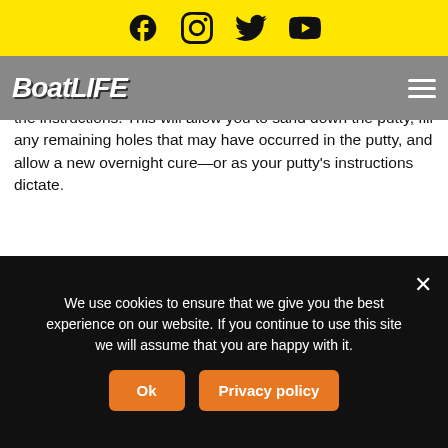BoatLIFE — social icons header bar (Facebook, Instagram, Twitter, YouTube)
BoatLIFE logo and hamburger menu navigation
based putty until it's slightly higher than the surrounding areas. Then you'd need to give it ample time to cure, as per the instructions. This will allow you to sand down the putty, fill any remaining holes that may have occurred in the putty, and allow a new overnight cure—or as your putty's instructions dictate.
TAKE CARE OF YOUR CRAFT WITH BOATLIFE PRODUCTS
Soft spots in your boat floor are something to take seriously. That's why it's important to know how to repair a soft spot in a boat floor. If you don't address them, you could risk more damage.
We use cookies to ensure that we give you the best experience on our website. If you continue to use this site we will assume that you are happy with it.
Ok
Privacy policy